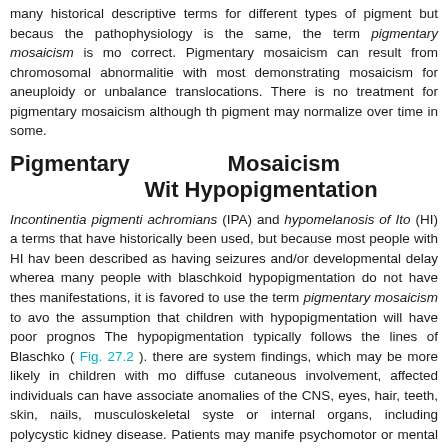many historical descriptive terms for different types of pigment but because the pathophysiology is the same, the term pigmentary mosaicism is more correct. Pigmentary mosaicism can result from chromosomal abnormalities with most demonstrating mosaicism for aneuploidy or unbalanced translocations. There is no treatment for pigmentary mosaicism although the pigment may normalize over time in some.
Pigmentary Mosaicism With Hypopigmentation
Incontinentia pigmenti achromians (IPA) and hypomelanosis of Ito (HI) are terms that have historically been used, but because most people with HI have been described as having seizures and/or developmental delay whereas many people with blaschkoid hypopigmentation do not have these manifestations, it is favored to use the term pigmentary mosaicism to avoid the assumption that children with hypopigmentation will have poor prognosis. The hypopigmentation typically follows the lines of Blaschko ( Fig. 27.2 ). If there are system findings, which may be more likely in children with more diffuse cutaneous involvement, affected individuals can have associated anomalies of the CNS, eyes, hair, teeth, skin, nails, musculoskeletal system, or internal organs, including polycystic kidney disease. Patients may manifest psychomotor or mental impairment, autism, microcephaly, coarse facies, and dysmorphic ears.